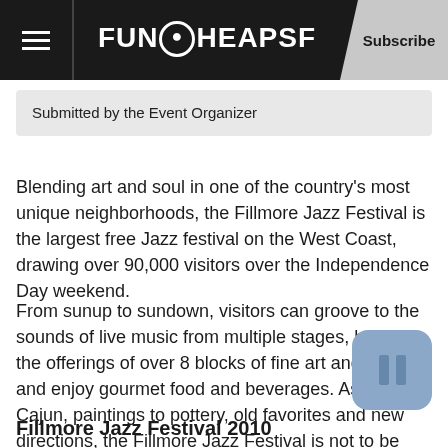FunCheapSF | Subscribe
Submitted by the Event Organizer
Blending art and soul in one of the country's most unique neighborhoods, the Fillmore Jazz Festival is the largest free Jazz festival on the West Coast, drawing over 90,000 visitors over the Independence Day weekend.
From sunup to sundown, visitors can groove to the sounds of live music from multiple stages, browse the offerings of over 8 blocks of fine art and crafts and enjoy gourmet food and beverages. Asian to Cajun, paintings to pottery, old favorites and new directions, the Fillmore Jazz Festival is not to be missed.
Fillmore Jazz Festival 2010